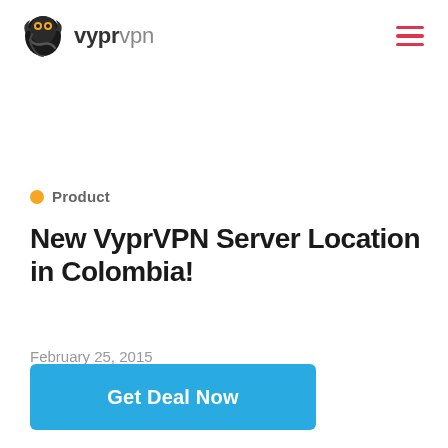vyprvpn
Product
New VyprVPN Server Location in Colombia!
February 25, 2015
Get Deal Now